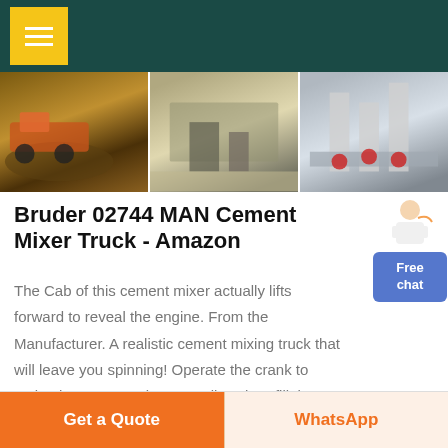[Figure (screenshot): Dark teal navigation header bar with yellow hamburger menu button]
[Figure (photo): Three construction/cement mixer equipment photos shown side by side]
Bruder 02744 MAN Cement Mixer Truck - Amazon
The Cab of this cement mixer actually lifts forward to reveal the engine. From the Manufacturer. A realistic cement mixing truck that will leave you spinning! Operate the crank to make the cement mixer actually spin -- fill the mixer with sand or rocks and watch them spill out like a real truck!
[Figure (illustration): Person with Free chat button overlay]
Get a Quote
WhatsApp